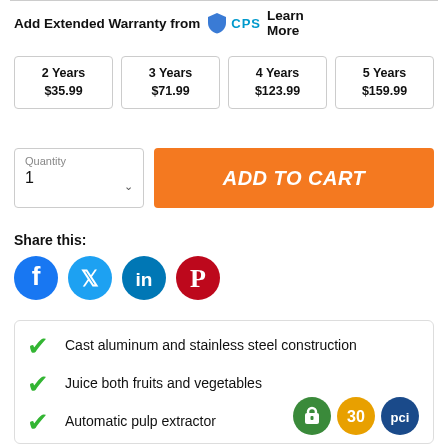Add Extended Warranty from CPS Learn More
2 Years $35.99
3 Years $71.99
4 Years $123.99
5 Years $159.99
Quantity 1
ADD TO CART
Share this:
[Figure (infographic): Social media share icons: Facebook, Twitter, LinkedIn, Pinterest]
Cast aluminum and stainless steel construction
Juice both fruits and vegetables
Automatic pulp extractor
[Figure (infographic): Three trust badge icons: secure lock badge, 30-day badge (gold), PCI badge (blue)]